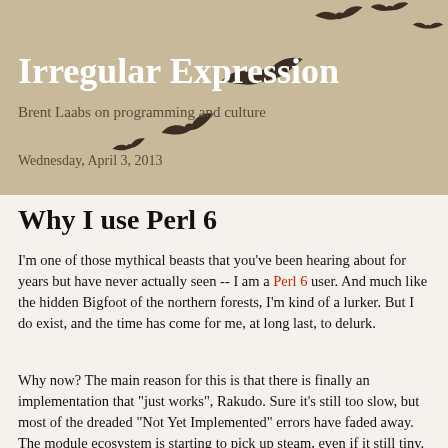Irregular Expression
Brent Laabs on programming and culture
Wednesday, April 3, 2013
Why I use Perl 6
I'm one of those mythical beasts that you've been hearing about for years but have never actually seen -- I am a Perl 6 user.  And much like the hidden Bigfoot of the northern forests, I'm kind of a lurker.  But I do exist, and the time has come for me, at long last, to delurk.
Why now?  The main reason for this is that there is finally an implementation that "just works", Rakudo.  Sure it's still too slow, but most of the dreaded "Not Yet Implemented" errors have faded away.  The module ecosystem is starting to pick up steam, even if it still tiny.